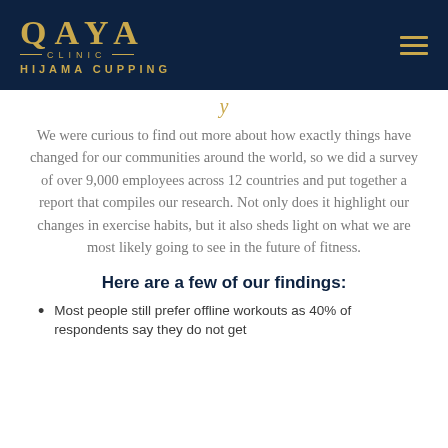QAYA CLINIC HIJAMA CUPPING
y
We were curious to find out more about how exactly things have changed for our communities around the world, so we did a survey of over 9,000 employees across 12 countries and put together a report that compiles our research. Not only does it highlight our changes in exercise habits, but it also sheds light on what we are most likely going to see in the future of fitness.
Here are a few of our findings:
Most people still prefer offline workouts as 40% of respondents say they do not get